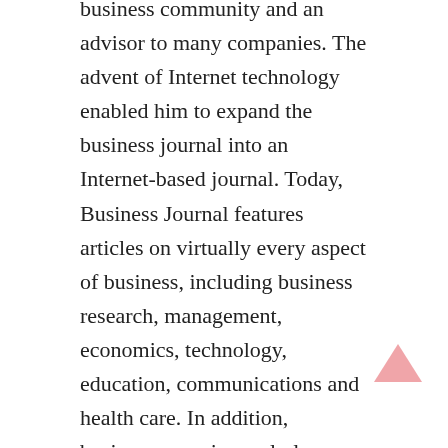business community and an advisor to many companies. The advent of Internet technology enabled him to expand the business journal into an Internet-based journal. Today, Business Journal features articles on virtually every aspect of business, including business research, management, economics, technology, education, communications and health care. In addition, business news is regularly added to the business journal.
An innovative feature of the business journal is the fact that it is published every day. The business first started publishing the business journal on Monday mornings, followed by free online publication on Tuesday mornings. This was primarily an English-language journal, but in the past few years, the business journal has also